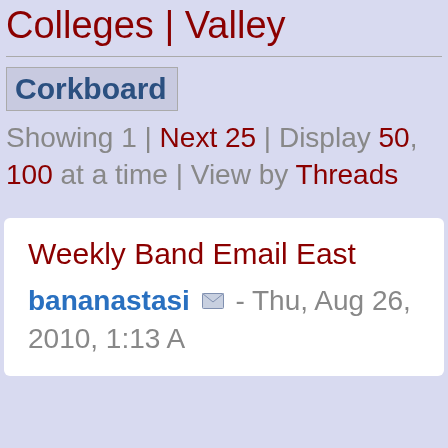Colleges | Valley
Corkboard
Showing 1 | Next 25 | Display 50, 100 at a time | View by Threads
Weekly Band Email East
bananastasi - Thu, Aug 26, 2010, 1:13 A